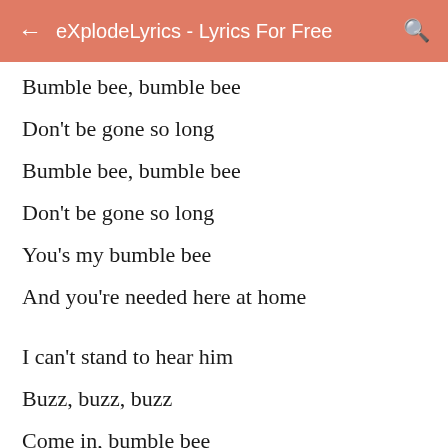← eXplodeLyrics - Lyrics For Free 🔍
Bumble bee, bumble bee
Don't be gone so long
Bumble bee, bumble bee
Don't be gone so long
You's my bumble bee
And you're needed here at home
I can't stand to hear him
Buzz, buzz, buzz
Come in, bumble bee
Want you to stop your fuss
You're my bumble bee
And you know your stuff